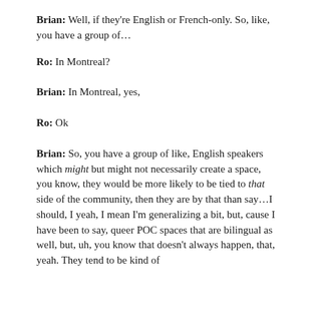Brian: Well, if they're English or French-only. So, like, you have a group of...
Ro: In Montreal?
Brian: In Montreal, yes,
Ro: Ok
Brian: So, you have a group of like, English speakers which might but might not necessarily create a space, you know, they would be more likely to be tied to that side of the community, then they are by that than say...I should, I yeah, I mean I'm generalizing a bit, but, cause I have been to say, queer POC spaces that are bilingual as well, but, uh, you know that doesn't always happen, that, yeah. They tend to be kind of [cut off]